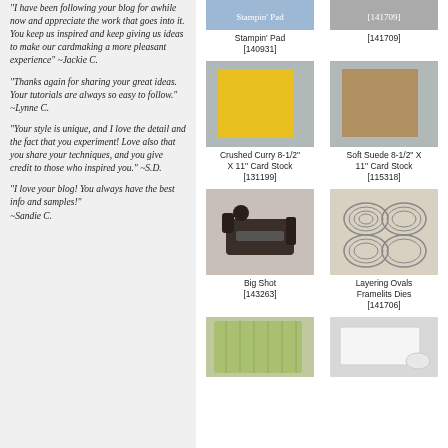"I have been following your blog for awhile now and appreciate the work that goes into it. You keep us inspired and keep giving us ideas to make our cardmaking a more pleasant experience" ~Jackie C.
"Thanks again for sharing your great ideas. Your tutorials are always so easy to follow." ~Lynne C.
"Your style is unique, and I love the detail and the fact that you experiment! Love also that you share your techniques, and you give credit to those who inspired you." ~S.D.
"I love your blog! You always have the best info and samples!" ~Sandie C.
[Figure (photo): Crushed Curry 8-1/2" X 11" Card Stock [131199] - yellow card stock]
Crushed Curry 8-1/2" X 11" Card Stock [131199]
[Figure (photo): Soft Suede 8-1/2" X 11" Card Stock [115318] - tan/brown card stock]
Soft Suede 8-1/2" X 11" Card Stock [115318]
[Figure (photo): Big Shot [143263] - die cutting machine]
Big Shot [143263]
[Figure (photo): Layering Ovals Framelits Dies [141706]]
Layering Ovals Framelits Dies [141706]
[Figure (photo): Green cutting mat product]
[Figure (photo): White paper/card stock product]